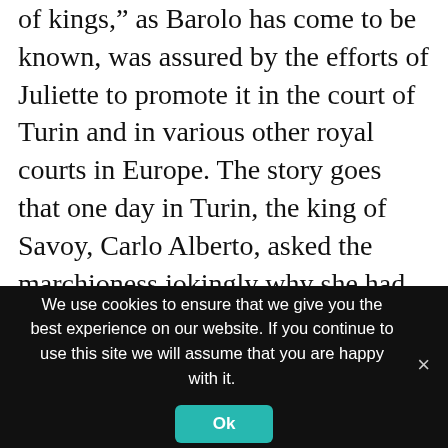of kings," as Barolo has come to be known, was assured by the efforts of Juliette to promote it in the court of Turin and in various other royal courts in Europe. The story goes that one day in Turin, the king of Savoy, Carlo Alberto, asked the marchioness jokingly why she had not yet offered him a taste of the famous wine, of which he had heard so much spoken and which was being produced, rumor had it, in the environs of the Castle of Barolo, the vacation residence of the marquesses of Barolo.1 A few days later, writes historian Domenico Massè in
We use cookies to ensure that we give you the best experience on our website. If you continue to use this site we will assume that you are happy with it.